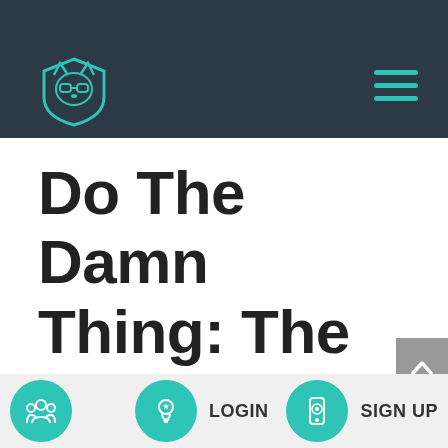[Figure (logo): Teal fox/cat mascot logo wearing sunglasses inside a shield shape, on dark navy background. Hamburger menu icon (three teal horizontal lines) in top right corner.]
Do The Damn Thing: The One Philosophy with Nancy Matthews
[Figure (other): Gray scroll-to-top button with upward chevron arrow]
LOGIN   SIGN UP